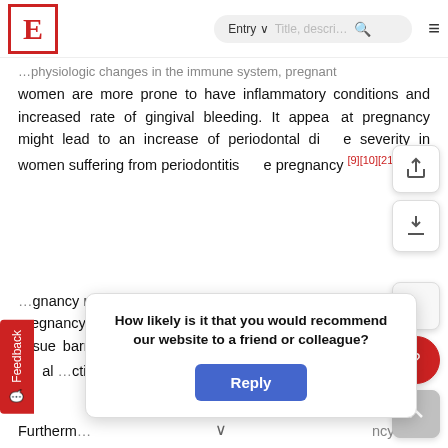E | Entry ▾ Title, descri… 🔍 ≡
…physiologic changes in the immune system, pregnant women are more prone to have inflammatory conditions and increased rate of gingival bleeding. It appears that pregnancy might lead to an increase of periodontal disease severity in women suffering from periodontitis before pregnancy [9][10][21][52].
…gnancy related nausea and vomiting are mostly frequent in early pregnancy. As a consequence, gastric acid could damage periodontal tissue barriers to pathogens, which could be responsible for periapical action …erm birth [54].
Furtherm… ncy have
How likely is it that you would recommend our website to a friend or colleague? Reply